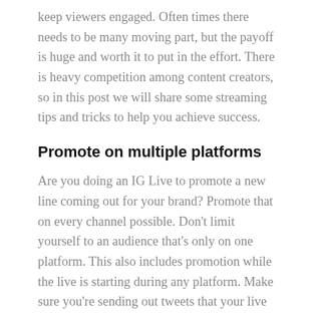keep viewers engaged. Often times there needs to be many moving part, but the payoff is huge and worth it to put in the effort. There is heavy competition among content creators, so in this post we will share some streaming tips and tricks to help you achieve success.
Promote on multiple platforms
Are you doing an IG Live to promote a new line coming out for your brand? Promote that on every channel possible. Don't limit yourself to an audience that's only on one platform. This also includes promotion while the live is starting during any platform. Make sure you're sending out tweets that your live is happening now for anyone that wants to view the products in action. Also, don't be afraid to let your live run for a bit with only a logo for some time as it's proven longer live streams